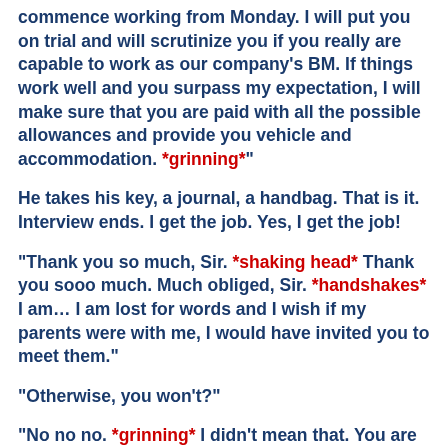commence working from Monday. I will put you on trial and will scrutinize you if you really are capable to work as our company's BM. If things work well and you surpass my expectation, I will make sure that you are paid with all the possible allowances and provide you vehicle and accommodation. *grinning*"
He takes his key, a journal, a handbag. That is it. Interview ends. I get the job. Yes, I get the job!
"Thank you so much, Sir. *shaking head* Thank you sooo much. Much obliged, Sir. *handshakes* I am... I am lost for words and I wish if my parents were with me, I would have invited you to meet them."
"Otherwise, you won't?"
"No no no. *grinning* I didn't mean that. You are most welcome, Mr. Rodriquez."